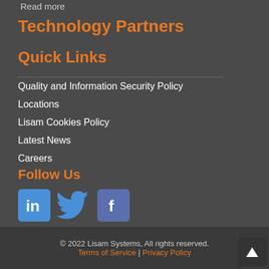Read more
Technology Partners
Quick Links
Quality and Information Security Policy
Locations
Lisam Cookies Policy
Latest News
Careers
Follow Us
[Figure (logo): LinkedIn, Twitter, and Facebook social media icons]
© 2022 Lisam Systems, All rights reserved. Terms of Service | Privacy Policy